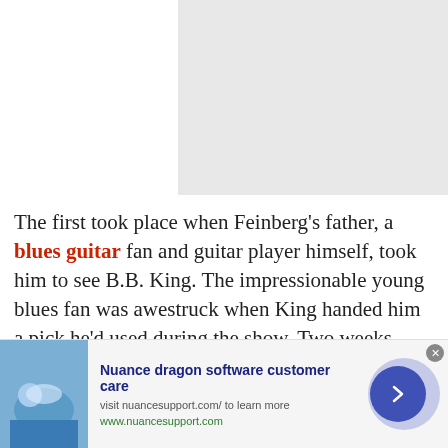[Figure (photo): Gray placeholder image area at top right of page]
The first took place when Feinberg's father, a blues guitar fan and guitar player himself, took him to see B.B. King. The impressionable young blues fan was awestruck when King handed him a pick he'd used during the show. Two weeks later, Feinberg was standing among the fans at a Buddy Guy show on Jones Beach, off Long Island. As the blues veteran made his way through the crowd, he too handed the
[Figure (screenshot): Advertisement bar: Nuance dragon software customer care. Visit nuancesupport.com/ to learn more. www.nuancesupport.com. Features an image of a hand on a touchscreen, and a blue circular arrow button.]